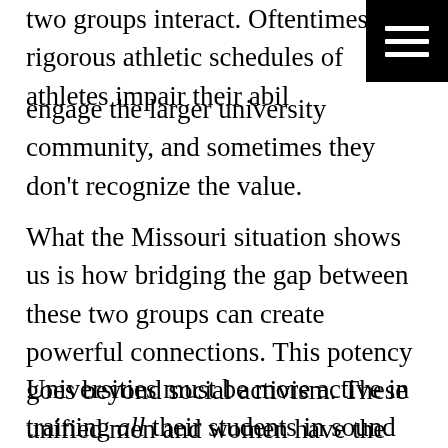two groups interact. Oftentimes the rigorous athletic schedules of athletes impair their ability to engage the larger university community, and sometimes they don't recognize the value.
What the Missouri situation shows us is how bridging the gap between these two groups can create powerful connections. This potency goes beyond social activism. These unified men and women have the potential to create new solutions to old problems.
Universities must be more active in training all their students in sound leadership and ethics. Old methods of responding to campus issues will not work. Former President Wolfe's on-camera